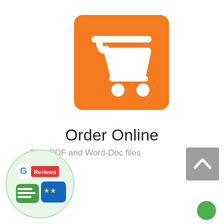[Figure (logo): Orange rounded-rectangle shopping cart icon with white cart silhouette]
Order Online
Free PDF and Word-Doc files
[Figure (illustration): Gray square scroll-to-top button with upward chevron arrow]
[Figure (illustration): Google Reviews badge widget in a circular frame with light green border — shows Google G logo, red Reviews badge, green speech bubble with lines, and blue speech bubble with yellow stars]
[Figure (illustration): Small solid green circle in bottom-right area]